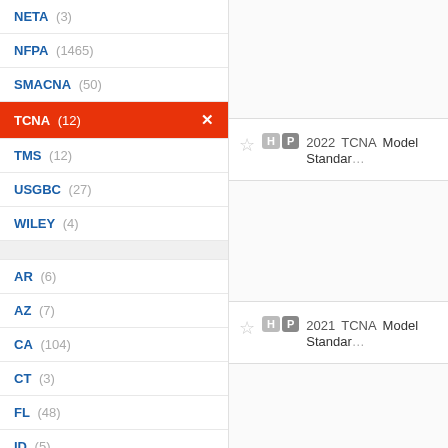NETA (3)
NFPA (1465)
SMACNA (50)
TCNA (12)
TMS (12)
USGBC (27)
WILEY (4)
AR (6)
AZ (7)
CA (104)
CT (3)
FL (48)
ID (5)
IL (5)
IN (1)
KY (1)
LA (2)
2022 TCNA Model Standard
2021 TCNA Model Standard